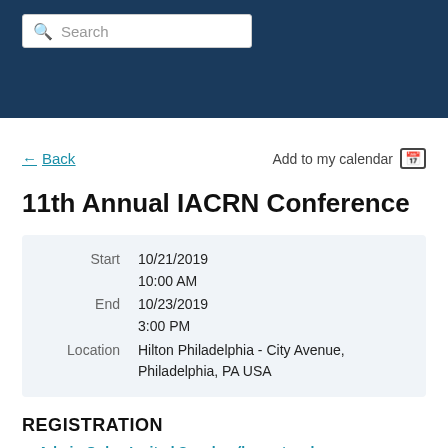Search
Back | Add to my calendar
11th Annual IACRN Conference
|  |  |
| --- | --- |
| Start | 10/21/2019
10:00 AM |
| End | 10/23/2019
3:00 PM |
| Location | Hilton Philadelphia - City Avenue, Philadelphia, PA USA |
REGISTRATION
Admin Only - Invited Speaker (keynote, plenary,